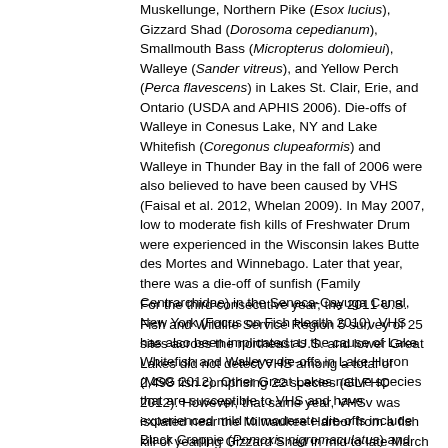Muskellunge, Northern Pike (Esox lucius), Gizzard Shad (Dorosoma cepedianum), Smallmouth Bass (Micropterus dolomieui), Walleye (Sander vitreus), and Yellow Perch (Perca flavescens) in Lakes St. Clair, Erie, and Ontario (USDA and APHIS 2006). Die-offs of Walleye in Conesus Lake, NY and Lake Whitefish (Coregonus clupeaformis) and Walleye in Thunder Bay in the fall of 2006 were also believed to have been caused by VHS (Faisal et al. 2012, Whelan 2009). In May 2007, low to moderate fish kills of Freshwater Drum were experienced in the Wisconsin lakes Butte des Mortes and Winnebago. Later that year, there was a die-off of sunfish (Family Centrarchidae) in the Seneca-Cayuga Canal, New York (Focus on Fish Health 2010). VHS has also been implicated as the cause of Lake Whitefish and Walleye die-offs in Lake Huron (MSG 2012). Other Great Lakes native species that are susceptible to VHS and have experienced mild to moderate die-offs include Black Crappie (Pomoxis nigromaculatus) and Bluegill (Lepomis macrochirus) in Budd Lake, MI and Lake St. Clair, White Bass (Morone chrysops) in Lake Erie, and Rock Bass (Ambloplites rupestris) in Skaneateles Lake, NY (Whelan 2009). Die-offs of Largemouth Bass (Micropterus salmoides) have also been observed (Kim and Faisal 2010a, Kim and Faisal 2010b).
For the third consecutive year, the 2011 U.S. Fish and Wildlife Service Region 5 survey of 25 sites across the northeast U.S. and lower Great Lakes did not detect VHS among a total of 2,498 fish comprising 22 species (GLFHC 2012). However, that same year, VHSv was isolated near the Milwaukee Harbor from a fish kill of yearling Gizzard Shad in mid to late March and again in Yellow Perch in late June (GLFHC 2012). Overall, VHSv detection was low and low impacts were realized in the